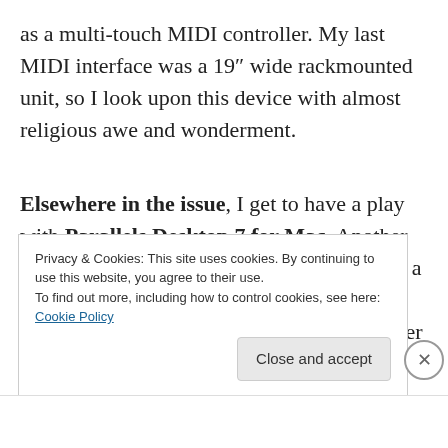as a multi-touch MIDI controller. My last MIDI interface was a 19″ wide rackmounted unit, so I look upon this device with almost religious awe and wonderment.
Elsewhere in the issue, I get to have a play with Parallels Desktop 7 for Mac. Another amazing bit of kit, this allows you to fire up a virtual PC running Windows on your Mac, but does it so that you can switch and transfer
Privacy & Cookies: This site uses cookies. By continuing to use this website, you agree to their use.
To find out more, including how to control cookies, see here: Cookie Policy
Close and accept